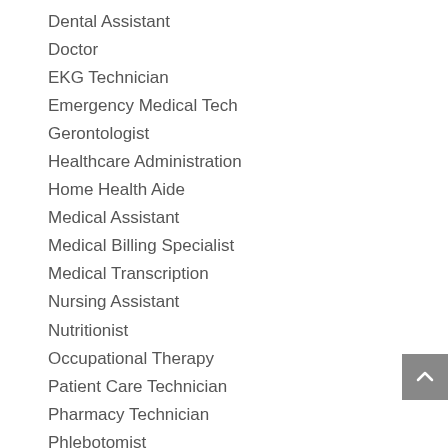Dental Assistant
Doctor
EKG Technician
Emergency Medical Tech
Gerontologist
Healthcare Administration
Home Health Aide
Medical Assistant
Medical Billing Specialist
Medical Transcription
Nursing Assistant
Nutritionist
Occupational Therapy
Patient Care Technician
Pharmacy Technician
Phlebotomist
Practical/Vocational Nurse